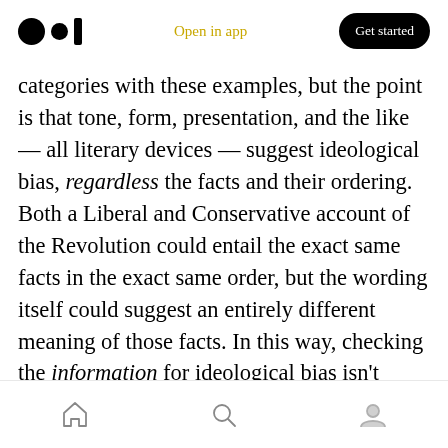Medium logo | Open in app | Get started
categories with these examples, but the point is that tone, form, presentation, and the like — all literary devices — suggest ideological bias, regardless the facts and their ordering. Both a Liberal and Conservative account of the Revolution could entail the exact same facts in the exact same order, but the wording itself could suggest an entirely different meaning of those facts. In this way, checking the information for ideological bias isn't enough: the form must also come under examination.

All this suggests why it's so important to
Home | Search | Profile